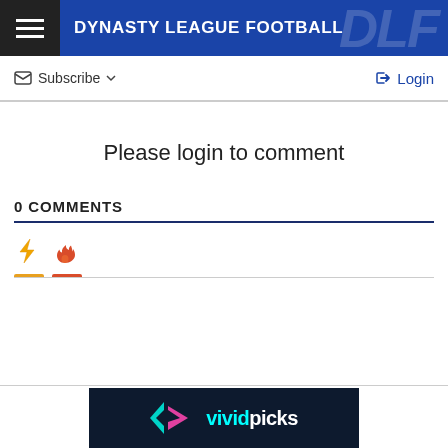DYNASTY LEAGUE FOOTBALL
Subscribe   Login
Please login to comment
0 COMMENTS
[Figure (other): Comment tab icons: lightning bolt (orange) and flame (red-orange) with colored underline indicators]
[Figure (logo): Vivid Picks advertisement banner with teal/pink arrow logo and white text on dark background]